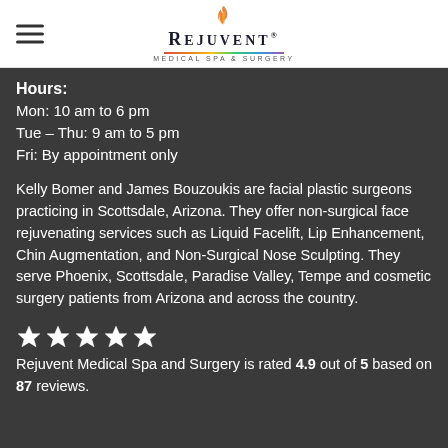REJUVENT MEDICAL SPA & SURGERY
Hours:
Mon: 10 am to 6 pm
Tue – Thu: 9 am to 5 pm
Fri: By appointment only
Kelly Bomer and James Bouzoukis are facial plastic surgeons practicing in Scottsdale, Arizona. They offer non-surgical face rejuvenating services such as Liquid Facelift, Lip Enhancement, Chin Augmentation, and Non-Surgical Nose Sculpting. They serve Phoenix, Scottsdale, Paradise Valley, Tempe and cosmetic surgery patients from Arizona and across the country.
Rejuvent Medical Spa and Surgery is rated 4.9 out of 5 based on 87 reviews.